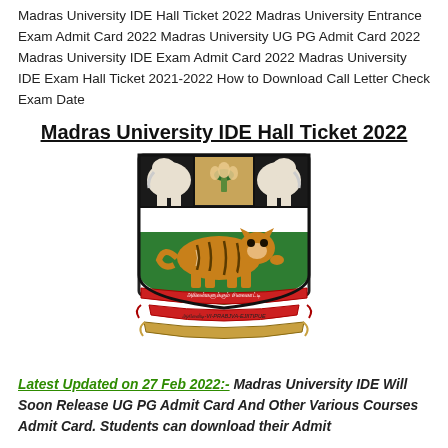Madras University IDE Hall Ticket 2022 Madras University Entrance Exam Admit Card 2022 Madras University UG PG Admit Card 2022 Madras University IDE Exam Admit Card 2022 Madras University IDE Exam Hall Ticket 2021-2022 How to Download Call Letter Check Exam Date
Madras University IDE Hall Ticket 2022
[Figure (logo): Madras University coat of arms / crest logo featuring a tiger, two elephants, a lotus flower, green shield, and Tamil script motto banners]
Latest Updated on 27 Feb 2022:- Madras University IDE Will Soon Release UG PG Admit Card And Other Various Courses Admit Card. Students can download their Admit